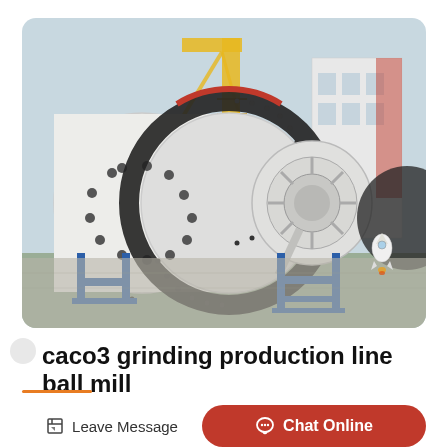[Figure (photo): Industrial ball mill machine for caco3 grinding production line, white cylindrical drum with black gear ring, blue support frames, yellow crane structure in background, building in far background, small rocket mascot in foreground right]
caco3 grinding production line ball mill
Leave Message
Chat Online